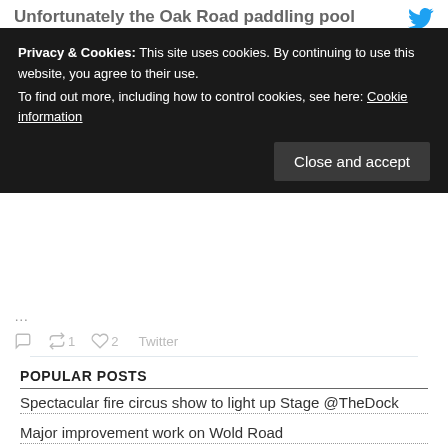Unfortunately the Oak Road paddling pool
Privacy & Cookies: This site uses cookies. By continuing to use this website, you agree to their use.
To find out more, including how to control cookies, see here: Cookie information
Close and accept
1  2  Twitter
POPULAR POSTS
Spectacular fire circus show to light up Stage @TheDock
Major improvement work on Wold Road